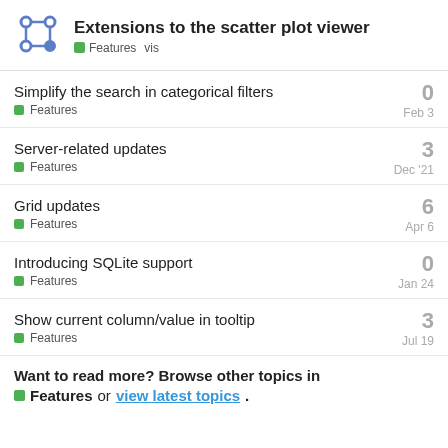Extensions to the scatter plot viewer
Features  vis
Simplify the search in categorical filters — 0 — Features — Feb 3
Server-related updates — 3 — Features — Dec '21
Grid updates — 6 — Features — Apr 6
Introducing SQLite support — 0 — Features — Jan 24
Show current column/value in tooltip — 3 — Features — Jul 19
Want to read more? Browse other topics in Features or view latest topics.